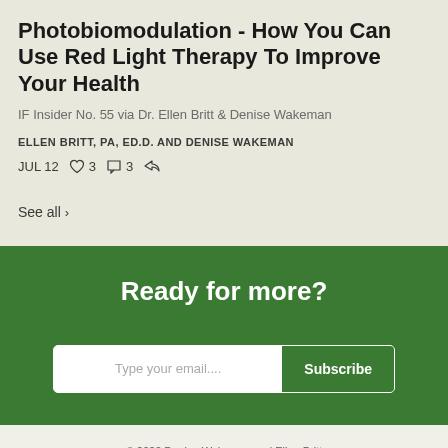Photobiomodulation - How You Can Use Red Light Therapy To Improve Your Health
IF Insider No. 55 via Dr. Ellen Britt & Denise Wakeman
ELLEN BRITT, PA, ED.D. AND DENISE WAKEMAN
JUL 12  ♡ 3  ◯ 3  ➦
See all ›
Ready for more?
Type your email....  Subscribe
© 2023 Denise Wakeman and Ellen Britt